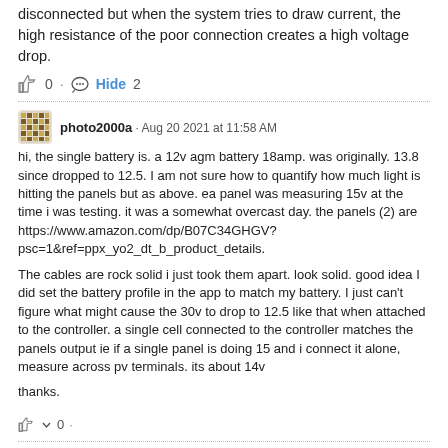disconnected but when the system tries to draw current, the high resistance of the poor connection creates a high voltage drop.
👍 0 · 💬 Hide 2
photo2000a · Aug 20 2021 at 11:58 AM
hi, the single battery is. a 12v agm battery 18amp. was originally. 13.8 since dropped to 12.5. I am not sure how to quantify how much light is hitting the panels but as above. ea panel was measuring 15v at the time i was testing. it was a somewhat overcast day. the panels (2) are https://www.amazon.com/dp/B07C34GHGV?psc=1&ref=ppx_yo2_dt_b_product_details.

The cables are rock solid i just took them apart. look solid. good idea I did set the battery profile in the app to match my battery. I just can't figure what might cause the 30v to drop to 12.5 like that when attached to the controller. a single cell connected to the controller matches the panels output ie if a single panel is doing 15 and i connect it alone, measure across pv terminals. its about 14v

thanks.
👍 ˅ 0 ·
pwfarnell ➤ photo2000a · Aug 21 2021 at 9:12 AM
For the controller to operate, the panel voltage needs to be 5V higher than the battery. When you put one panel onto the